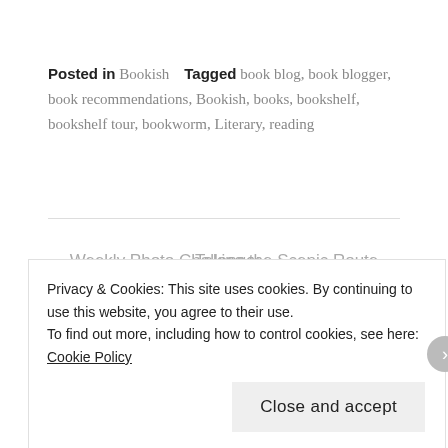Posted in Bookish   Tagged book blog, book blogger, book recommendations, Bookish, books, bookshelf, bookshelf tour, bookworm, Literary, reading
← Weekly Photo Challenge: Twisted
Taking the Scenic Route →
Privacy & Cookies: This site uses cookies. By continuing to use this website, you agree to their use.
To find out more, including how to control cookies, see here: Cookie Policy
Close and accept